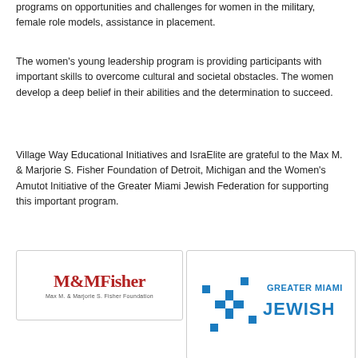programs on opportunities and challenges for women in the military, female role models, assistance in placement.
The women's young leadership program is providing participants with important skills to overcome cultural and societal obstacles. The women develop a deep belief in their abilities and the determination to succeed.
Village Way Educational Initiatives and IsraElite are grateful to the Max M. & Marjorie S. Fisher Foundation of Detroit, Michigan and the Women's Amutot Initiative of the Greater Miami Jewish Federation for supporting this important program.
[Figure (logo): M&MFisher - Max M. & Marjorie S. Fisher Foundation logo in red serif text]
[Figure (logo): Greater Miami Jewish Federation logo with blue star/arrows motif and text GREATER MIAMI JEWISH]